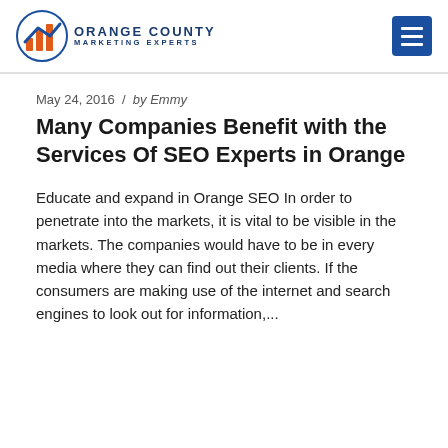Orange County Marketing Experts
May 24, 2016 / by Emmy
Many Companies Benefit with the Services Of SEO Experts in Orange
Educate and expand in Orange SEO In order to penetrate into the markets, it is vital to be visible in the markets. The companies would have to be in every media where they can find out their clients. If the consumers are making use of the internet and search engines to look out for information,...